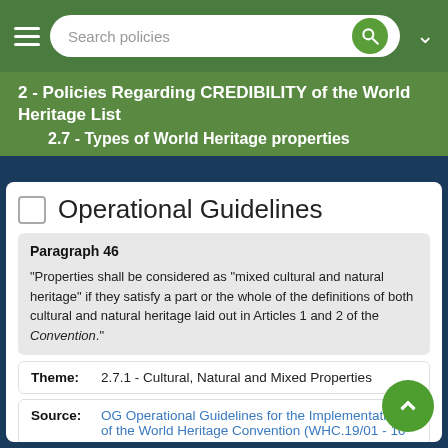Search policies
2 - Policies Regarding CREDIBILITY of the World Heritage List
2.7 - Types of World Heritage properties
Operational Guidelines
Paragraph 46
“Properties shall be considered as "mixed cultural and natural heritage" if they satisfy a part or the whole of the definitions of both cultural and natural heritage laid out in Articles 1 and 2 of the Convention.”
Theme: 2.7.1 - Cultural, Natural and Mixed Properties
Source: OG Operational Guidelines for the Implementation of the World Heritage Convention (WHC.19/01 - 10